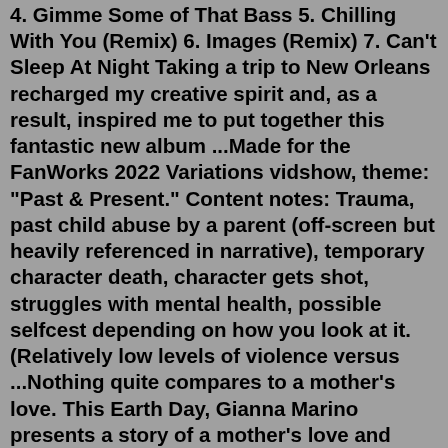4. Gimme Some of That Bass 5. Chilling With You (Remix) 6. Images (Remix) 7. Can't Sleep At Night Taking a trip to New Orleans recharged my creative spirit and, as a result, inspired me to put together this fantastic new album ...Made for the FanWorks 2022 Variations vidshow, theme: "Past & Present." Content notes: Trauma, past child abuse by a parent (off-screen but heavily referenced in narrative), temporary character death, character gets shot, struggles with mental health, possible selfcest depending on how you look at it. (Relatively low levels of violence versus ...Nothing quite compares to a mother's love. This Earth Day, Gianna Marino presents a story of a mother's love and assurance. And also we are reminded to take ... Meet me on the moon soon as you can In the middle of the sky You and I riding on a cloud Soft as you please We can sail upon the breeze To the ever lasting moment of love Oh, I feel your symphony So strong and so pure It echoes on through me I am so sure that we were